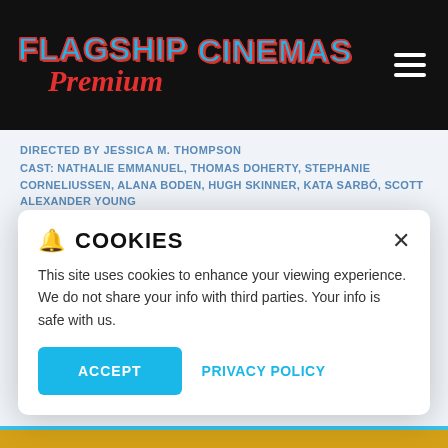FLAGSHIP CINEMAS Premium
DIRECTED BY JESSICA M. THOMPSON
CAST: NATHALIE EMMANUEL, THOMAS DOHERTY, STEPHANIE CORNELIUSSEN, ALANA BODEN, HUGH SKINNER, KATA SARBÓ, SCOTT ALEXANDER YOUNG
After the death of her mother, Evie is approached by an unknown cousin who invites her to a lavish wedding in the English countryside. Soon, she realizes a gothic conspiracy i…
MORE
COOKIES
This site uses cookies to enhance your viewing experience. We do not share your info with third parties. Your info is safe with us.
ACCEPT  PRIVACY POLICY